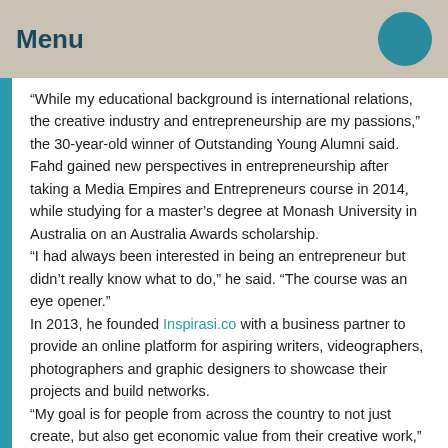Menu
“While my educational background is international relations, the creative industry and entrepreneurship are my passions,” the 30-year-old winner of Outstanding Young Alumni said.
Fahd gained new perspectives in entrepreneurship after taking a Media Empires and Entrepreneurs course in 2014, while studying for a master’s degree at Monash University in Australia on an Australia Awards scholarship.
“I had always been interested in being an entrepreneur but didn’t really know what to do,” he said. “The course was an eye opener.”
In 2013, he founded Inspirasi.co with a business partner to provide an online platform for aspiring writers, videographers, photographers and graphic designers to showcase their projects and build networks.
“My goal is for people from across the country to not just create, but also get economic value from their creative work,” he said.
Two years later, he and his team set up Digitroops Indonesia, an agency that provides strategic social media services for government